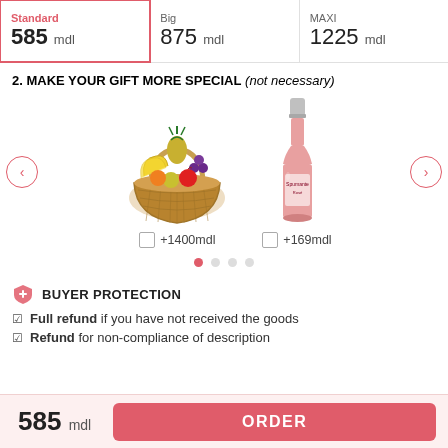| Standard | Big | MAXI |
| --- | --- | --- |
| 585 mdl | 875 mdl | 1225 mdl |
2. MAKE YOUR GIFT MORE SPECIAL (not necessary)
[Figure (photo): Fruit basket with bananas, pineapple, grapes, apples and other fruits]
[Figure (photo): Pink/rose sparkling wine bottle]
+1400mdl
+169mdl
BUYER PROTECTION
Full refund if you have not received the goods
Refund for non-compliance of description
585 mdl
ORDER